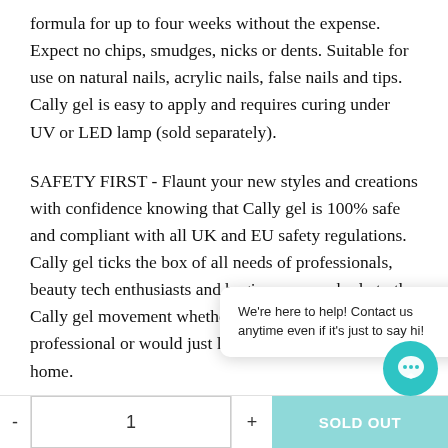formula for up to four weeks without the expense. Expect no chips, smudges, nicks or dents. Suitable for use on natural nails, acrylic nails, false nails and tips. Cally gel is easy to apply and requires curing under UV or LED lamp (sold separately).
SAFETY FIRST - Flaunt your new styles and creations with confidence knowing that Cally gel is 100% safe and compliant with all UK and EU safety regulations. Cally gel ticks the box of all needs of professionals, beauty tech enthusiasts and beginners everybody to the Cally gel movement whether you are an industry professional or would just like to do your own nails at home.
[Figure (other): Chat tooltip popup saying 'We're here to help! Contact us anytime even if it's just to say hi!' and a teal circular chat button icon in the bottom right corner.]
- 1 + SOLD OUT